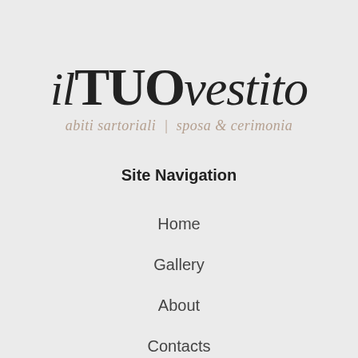[Figure (logo): il TUO vestito brand logo with tagline 'abiti sartoriali | sposa & cerimonia']
Site Navigation
Home
Gallery
About
Contacts
Buy